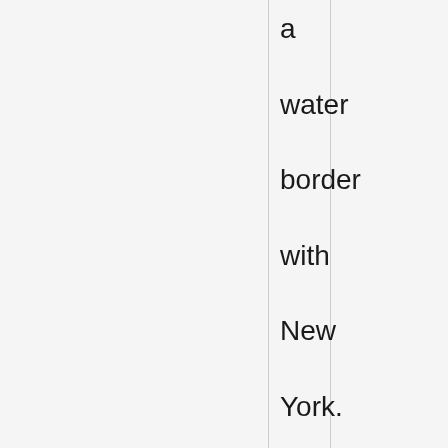a water border with New York. New York is also the site of the only